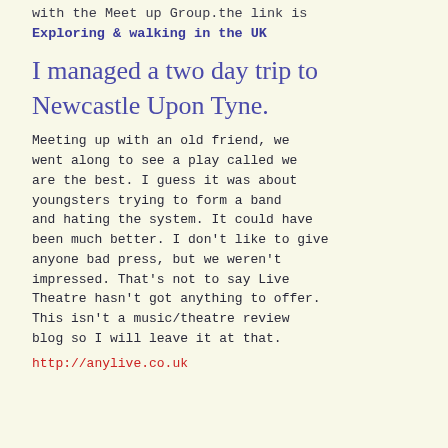with the Meet up Group.the link is Exploring & walking in the UK
I managed a two day trip to Newcastle Upon Tyne.
Meeting up with an old friend, we went along to see a play called we are the best. I guess it was about youngsters trying to form a band and hating the system. It could have been much better. I don't like to give anyone bad press, but we weren't impressed. That's not to say Live Theatre hasn't got anything to offer. This isn't a music/theatre review blog so I will leave it at that.
http://anylive.co.uk